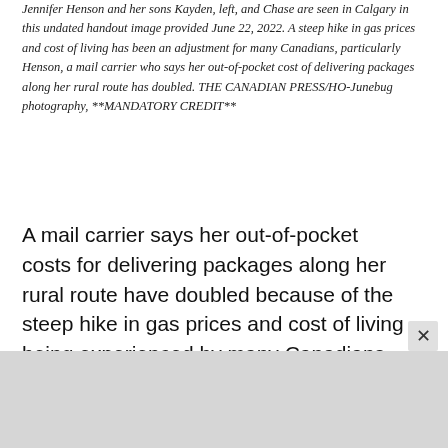Jennifer Henson and her sons Kayden, left, and Chase are seen in Calgary in this undated handout image provided June 22, 2022. A steep hike in gas prices and cost of living has been an adjustment for many Canadians, particularly Henson, a mail carrier who says her out-of-pocket cost of delivering packages along her rural route has doubled. THE CANADIAN PRESS/HO-Junebug photography, **MANDATORY CREDIT**
A mail carrier says her out-of-pocket costs for delivering packages along her rural route have doubled because of the steep hike in gas prices and cost of living being experienced by many Canadians.
"The stress is exhausting," said Jennifer Henson, a Calgary mother of two boys and one of 11,000 rural and suburban mail carriers delivering letters for